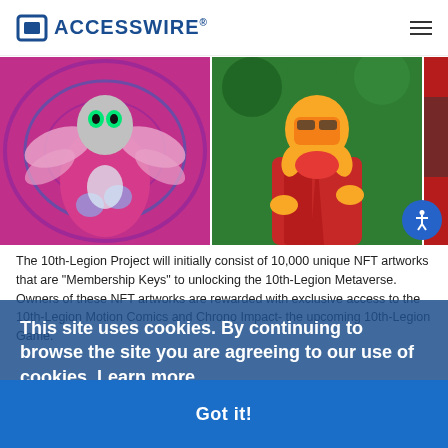ACCESSWIRE
[Figure (photo): Three NFT character artworks in a horizontal strip: first shows a pink robot with butterfly wings and green eyes, second shows a character in red suit with gold gas mask, third shows partial view of a character on red background]
The 10th-Legion Project will initially consist of 10,000 unique NFT artworks that are "Membership Keys" to unlocking the 10th-Legion Metaverse. Owners of these NFT artworks are rewarded with exclusive access to the 10th-Legion Motion Comics and Chrono Impact- the upcoming 10th-Legion Game.
This site uses cookies. By continuing to browse the site you are agreeing to our use of cookies. Learn more
Got it!